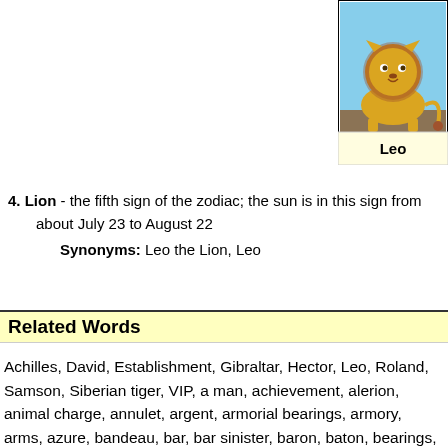[Figure (illustration): Illustrated zodiac card for Leo showing a lion drawing with the label 'Leo' at the bottom, yellow/brown colors]
4. Lion - the fifth sign of the zodiac; the sun is in this sign from about July 23 to August 22
Synonyms: Leo the Lion, Leo
Related Words
Achilles, David, Establishment, Gibraltar, Hector, Leo, Roland, Samson, Siberian tiger, VIP, a man, achievement, alerion, animal charge, annulet, argent, armorial bearings, armory, arms, azure, bandeau, bar, bar sinister, baron, baton, bearings, bend, bend sinister, big boy, big gun, big man, big name, big-timer, bigwig, billet, blazon, blazonry, bobcat, bordure, brass, brass hat, brave, broad arrow, bulldog, cadency mark, canton, cat-a-mountain, catamount, celebrity, chaplet, charge, cheetah, chevron, chief, chutzpanik, coat of arms, cockatrice, constellation, coronet, cougar, crescent, crest, cross, cross moline, crown, cynosure, decorated hero, demigod, demigoddess, device, difference, differencing, dignitary, dignity, eagle, elder, eminence, ermine, ermines, erminites, erminois, escutcheon, falcon, father, fess, fess point, field, fighting cock, figure, file, flanch, fleur-de-lis, folk hero,